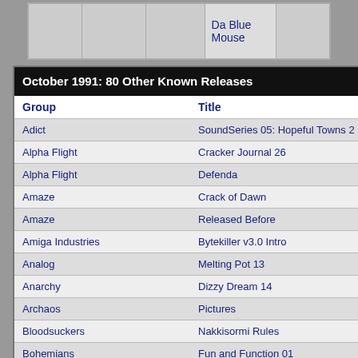|  |  |  | Da Blue Mouse |  |
| --- | --- | --- | --- | --- |
|  |
| Group | Title |
| --- | --- |
| Adict | SoundSeries 05: Hopeful Towns 2 |
| Alpha Flight | Cracker Journal 26 |
| Alpha Flight | Defenda |
| Amaze | Crack of Dawn |
| Amaze | Released Before |
| Amiga Industries | Bytekiller v3.0 Intro |
| Analog | Melting Pot 13 |
| Anarchy | Dizzy Dream 14 |
| Archaos | Pictures |
| Bloodsuckers | Nakkisormi Rules |
| Bohemians | Fun and Function 01 |
| Brainstorm | Blitter Miracle |
| Byterapers | October 1991 |
| Byterapers | Super Cow Mega Demo |
| Month Stats |  |
| --- | --- |
| Releases | 179 |
| Exact | 99 |
| Other | 80 |
| Most Active G |
| --- |
| Group |
| Crystal |
| Sanctuary |
| Scoopex |
| Skid Row |
| Coma |
| Rebels |
| TRSI |
| Alpha Flight |
| Anarchy |
| Brainstorm |